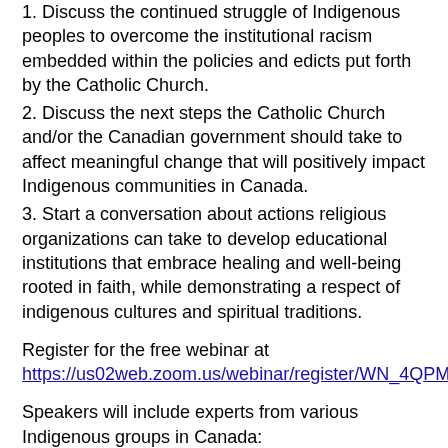1. Discuss the continued struggle of Indigenous peoples to overcome the institutional racism embedded within the policies and edicts put forth by the Catholic Church.
2. Discuss the next steps the Catholic Church and/or the Canadian government should take to affect meaningful change that will positively impact Indigenous communities in Canada.
3. Start a conversation about actions religious organizations can take to develop educational institutions that embrace healing and well-being rooted in faith, while demonstrating a respect of indigenous cultures and spiritual traditions.
Register for the free webinar at https://us02web.zoom.us/webinar/register/WN_4QPMmGBAT...
Speakers will include experts from various Indigenous groups in Canada: